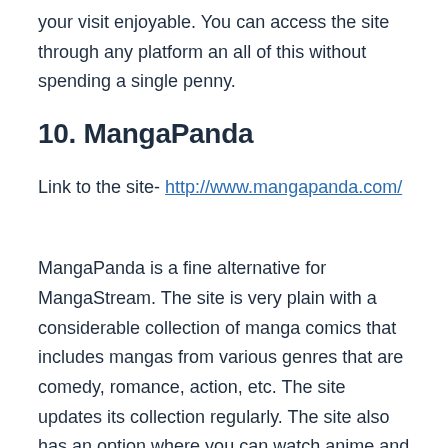your visit enjoyable. You can access the site through any platform an all of this without spending a single penny.
10. MangaPanda
Link to the site- http://www.mangapanda.com/
MangaPanda is a fine alternative for MangaStream. The site is very plain with a considerable collection of manga comics that includes mangas from various genres that are comedy, romance, action, etc. The site updates its collection regularly. The site also has an option where you can watch anime and Chinese movies as well.